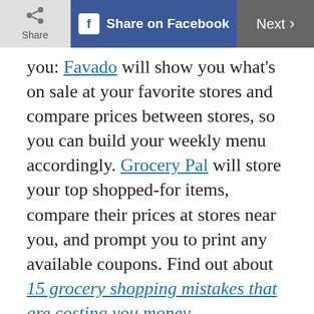Share | Share on Facebook | Next
you: Favado will show you what's on sale at your favorite stores and compare prices between stores, so you can build your weekly menu accordingly. Grocery Pal will store your top shopped-for items, compare their prices at stores near you, and prompt you to print any available coupons. Find out about 15 grocery shopping mistakes that are costing you money.
ADVERTISEMENT
6 /10